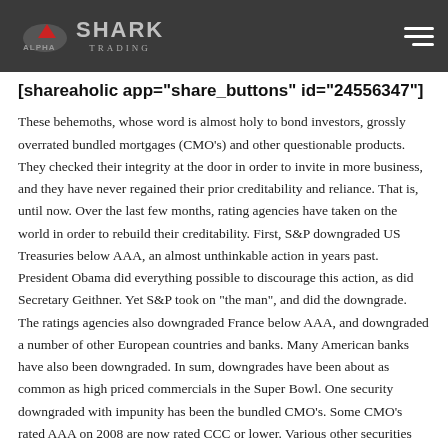[Figure (logo): Alpha Shark Trading logo with shark graphic on dark background header bar, with hamburger menu icon on right]
[shareaholic app="share_buttons" id="24556347"]
These behemoths, whose word is almost holy to bond investors, grossly overrated bundled mortgages (CMO’s) and other questionable products. They checked their integrity at the door in order to invite in more business, and they have never regained their prior creditability and reliance. That is, until now. Over the last few months, rating agencies have taken on the world in order to rebuild their creditability. First, S&P downgraded US Treasuries below AAA, an almost unthinkable action in years past. President Obama did everything possible to discourage this action, as did Secretary Geithner. Yet S&P took on “the man”, and did the downgrade. The ratings agencies also downgraded France below AAA, and downgraded a number of other European countries and banks. Many American banks have also been downgraded. In sum, downgrades have been about as common as high priced commercials in the Super Bowl. One security downgraded with impunity has been the bundled CMO’s. Some CMO’s rated AAA on 2008 are now rated CCC or lower. Various other securities have been equally harshly downgraded. Indeed, the ratings agencies seem to have drunk the cool aid. They have a new morality in trying to accurately rate fixed income